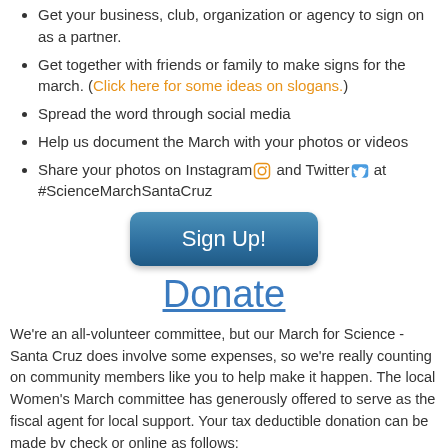Get your business, club, organization or agency to sign on as a partner.
Get together with friends or family to make signs for the march. (Click here for some ideas on slogans.)
Spread the word through social media
Help us document the March with your photos or videos
Share your photos on Instagram and Twitter at #ScienceMarchSantaCruz
[Figure (other): Blue rounded rectangle button with text 'Sign Up!']
Donate
We're an all-volunteer committee, but our March for Science - Santa Cruz does involve some expenses, so we're really counting on community members like you to help make it happen. The local Women's March committee has generously offered to serve as the fiscal agent for local support. Your tax deductible donation can be made by check or online as follows:
Online: Use this link, and add the initials MFS after your last name. Donate Here
Check: Make checks payable to SMC (Santa Cruz Media...)